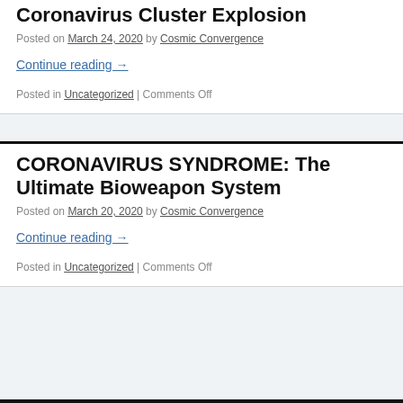Coronavirus Cluster Explosion
Posted on March 24, 2020 by Cosmic Convergence
Continue reading →
Posted in Uncategorized | Comments Off
CORONAVIRUS SYNDROME: The Ultimate Bioweapon System
Posted on March 20, 2020 by Cosmic Convergence
Continue reading →
Posted in Uncategorized | Comments Off